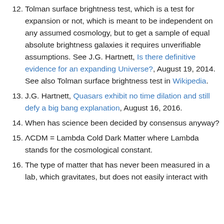12. Tolman surface brightness test, which is a test for expansion or not, which is meant to be independent on any assumed cosmology, but to get a sample of equal absolute brightness galaxies it requires unverifiable assumptions. See J.G. Hartnett, Is there definitive evidence for an expanding Universe?, August 19, 2014. See also Tolman surface brightness test in Wikipedia.
13. J.G. Hartnett, Quasars exhibit no time dilation and still defy a big bang explanation, August 16, 2016.
14. When has science been decided by consensus anyway?
15. ΛCDM = Lambda Cold Dark Matter where Lambda stands for the cosmological constant.
16. The type of matter that has never been measured in a lab, which gravitates, but does not easily interact with